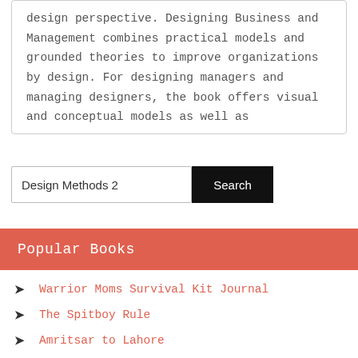design perspective. Designing Business and Management combines practical models and grounded theories to improve organizations by design. For designing managers and managing designers, the book offers visual and conceptual models as well as
Design Methods 2
Popular Books
Warrior Moms Survival Kit Journal
The Spitboy Rule
Amritsar to Lahore